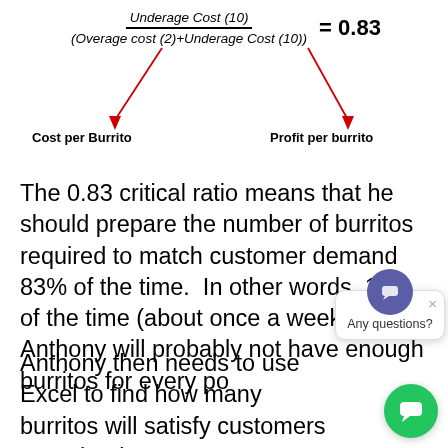[Figure (illustration): Two red arrows pointing from the formula's numerator (Underage Cost 10) and denominator parts to labels 'Cost per Burrito' (left) and 'Profit per burrito' (right)]
The 0.83 critical ratio means that he should prepare the number of burritos required to match customer demand 83% of the time.  In other words, 17% of the time (about once a week) Anthony will probably not have enough burritos for every po
Anthony then needs to use Excel to find how many burritos will satisfy customers 83% the time.